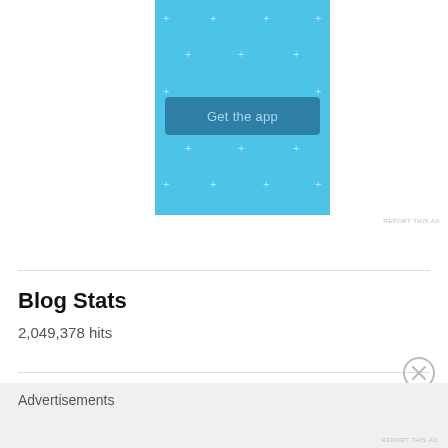[Figure (screenshot): Blue advertisement banner with 'Get the app' button and decorative plus/cross symbols on light blue background]
REPORT THIS AD
Blog Stats
2,049,378 hits
Advertisements
REPORT THIS AD